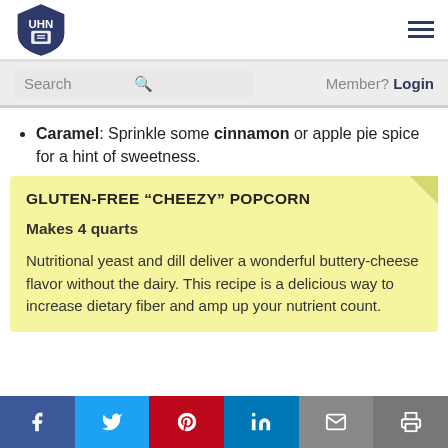UHN logo and navigation hamburger menu
Search | Member? Login
Caramel: Sprinkle some cinnamon or apple pie spice for a hint of sweetness.
GLUTEN-FREE “CHEEZY” POPCORN
Makes 4 quarts
Nutritional yeast and dill deliver a wonderful buttery-cheese flavor without the dairy. This recipe is a delicious way to increase dietary fiber and amp up your nutrient count.
Social share buttons: Facebook, Twitter, Pinterest, LinkedIn, Email, Print